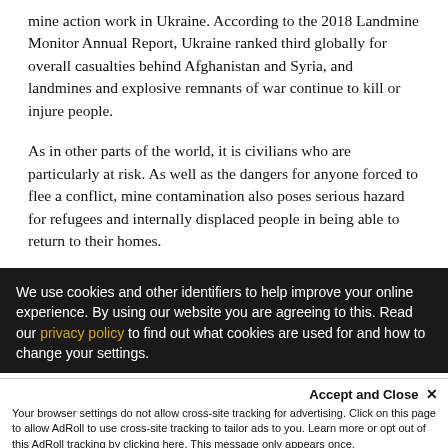mine action work in Ukraine. According to the 2018 Landmine Monitor Annual Report, Ukraine ranked third globally for overall casualties behind Afghanistan and Syria, and landmines and explosive remnants of war continue to kill or injure people.
As in other parts of the world, it is civilians who are particularly at risk. As well as the dangers for anyone forced to flee a conflict, mine contamination also poses serious hazard for refugees and internally displaced people in being able to return to their homes.
In eastern Ukraine, mine contamination affects over two
We use cookies and other identifiers to help improve your online experience. By using our website you are agreeing to this. Read our privacy policy to find out what cookies are used for and how to change your settings.
Accept and Close ✕
Your browser settings do not allow cross-site tracking for advertising. Click on this page to allow AdRoll to use cross-site tracking to tailor ads to you. Learn more or opt out of this AdRoll tracking by clicking here. This message only appears once.